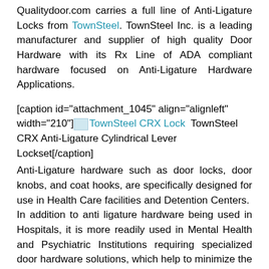Qualitydoor.com carries a full line of Anti-Ligature Locks from TownSteel. TownSteel Inc. is a leading manufacturer and supplier of high quality Door Hardware with its Rx Line of ADA compliant hardware focused on Anti-Ligature Hardware Applications.
[caption id="attachment_1045" align="alignleft" width="210"][TownSteel CRX Lock image] TownSteel CRX Anti-Ligature Cylindrical Lever Lockset[/caption]
Anti-Ligature hardware such as door locks, door knobs, and coat hooks, are specifically designed for use in Health Care facilities and Detention Centers. In addition to anti ligature hardware being used in Hospitals, it is more readily used in Mental Health and Psychiatric Institutions requiring specialized door hardware solutions, which help to minimize the risk of self-harm yet at the same time provide a high level of client privacy and dignity. TownSteel Anti-Ligature Locks are specifically designed for just such unique applications. In fact, TownSteel offers the most